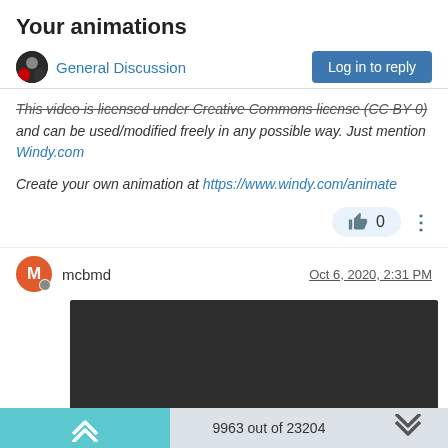Your animations
General Discussion
This video is licensed under Creative Commons license (CC BY 0) and can be used/modified freely in any possible way. Just mention Windy.com
Create your own animation at https://www.windy.com/animate
0  (like button)
mcbmd   Oct 6, 2020, 2:31 PM
[Figure (screenshot): Embedded video player with dark background, play button, time 0:00 and video controls]
9963 out of 23204